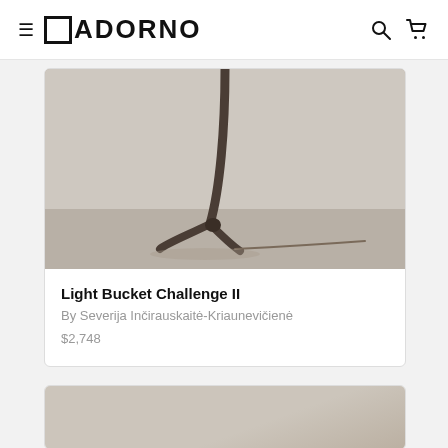ADORNO
[Figure (photo): Close-up photo of a lamp base made from twisted dark metal branches forming a tripod stand, placed on a concrete floor with a light grey wall behind it.]
Light Bucket Challenge II
By Severija Inčirauskaitė-Kriaunevičienė
$2,748
[Figure (photo): Partial view of a second product card showing a grey/beige textured background.]